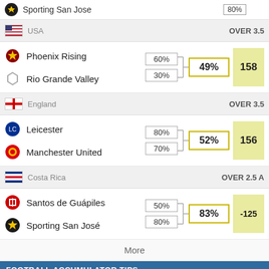Sporting San Jose — 80%
USA — OVER 3.5
Phoenix Rising 60% | Rio Grande Valley 30% | 49% | 158
England — OVER 3.5
Leicester 80% | Manchester United 70% | 52% | 156
Costa Rica — OVER 2.5 A
Santos de Guápiles 50% | Sporting San José 80% | 83% | -125
More
FOOTBALL ACCUMULATOR TIPS
We use cookies to enhance your experience. By continuing to visit this site you agree to our use of cookies. More info